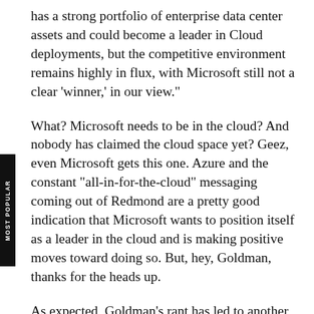has a strong portfolio of enterprise data center assets and could become a leader in Cloud deployments, but the competitive environment remains highly in flux, with Microsoft still not a clear 'winner,' in our view."
What? Microsoft needs to be in the cloud? And nobody has claimed the cloud space yet? Geez, even Microsoft gets this one. Azure and the constant "all-in-for-the-cloud" messaging coming out of Redmond are a pretty good indication that Microsoft wants to position itself as a leader in the cloud and is making positive moves toward doing so. But, hey, Goldman, thanks for the heads up.
As expected, Goldman's rant has led to another nice wave of articles talking about how Microsoft is finished...and basically saying the same thing that Goldman said this week and that we've been saying for years. Again, it's not that we disagree with Ms